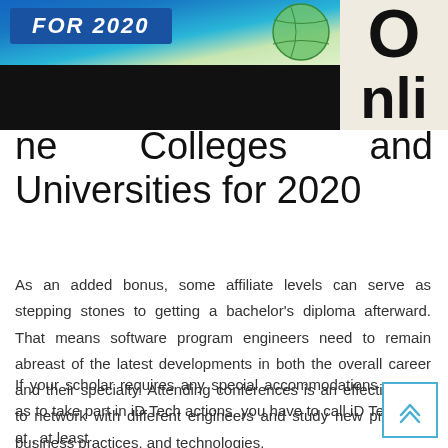[Figure (photo): Partial image of a banner reading 'FOR 2020' with a globe/map graphic, partially cut off at top. Contains a dark bar below the image portion.]
Online Colleges and Universities for 2020
As an added bonus, some affiliate levels can serve as stepping stones to getting a bachelor’s diploma afterward. That means software program engineers need to remain abreast of the latest developments in both the overall career and their specialty. Attending conferences is an effective way to network with different engineers and study new products, business practices, and technologies.
If your scholar requires any special accommodations so as to take part in iD Tech actions, you have to call iD Tech at , at least